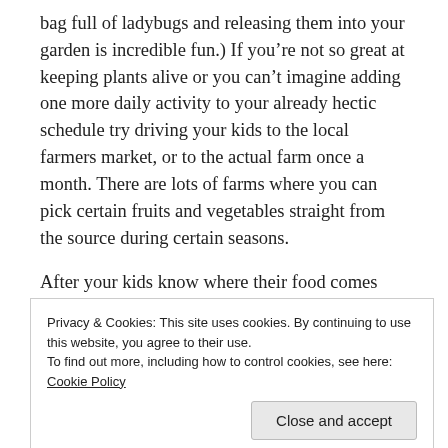bag full of ladybugs and releasing them into your garden is incredible fun.)  If you're not so great at keeping plants alive or you can't imagine adding one more daily activity to your already hectic schedule try driving your kids to the local farmers market, or to the actual farm once a month.  There are lots of farms where you can pick certain fruits and vegetables straight from the source during certain seasons.
After your kids know where their food comes from they need to learn how to prepare their food to eat.  We should teach our children to cook and eat whole foods
Privacy & Cookies: This site uses cookies. By continuing to use this website, you agree to their use.
To find out more, including how to control cookies, see here: Cookie Policy
enjoy cooking (it's the cleaning part I figured out I don't